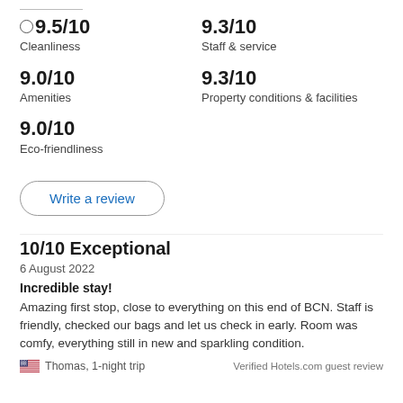9.5/10 Cleanliness
9.3/10 Staff & service
9.0/10 Amenities
9.3/10 Property conditions & facilities
9.0/10 Eco-friendliness
Write a review
10/10 Exceptional
6 August 2022
Incredible stay!
Amazing first stop, close to everything on this end of BCN. Staff is friendly, checked our bags and let us check in early. Room was comfy, everything still in new and sparkling condition.
Thomas, 1-night trip
Verified Hotels.com guest review